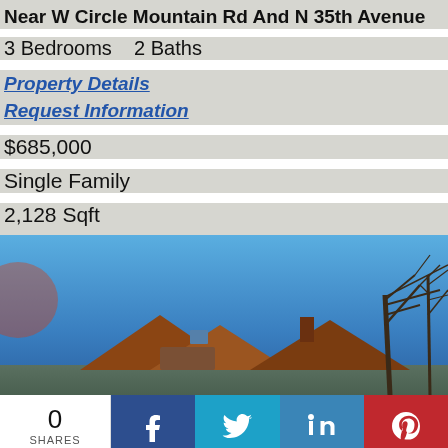Near W Circle Mountain Rd And N 35th Avenue
3 Bedrooms   2 Baths
Property Details
Request Information
$685,000
Single Family
2,128 Sqft
[Figure (photo): Exterior photo of a single family home with brown/terracotta roof against a blue sky, with bare tree branches visible on the right side]
0
SHARES